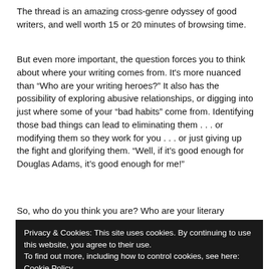The thread is an amazing cross-genre odyssey of good writers, and well worth 15 or 20 minutes of browsing time.
But even more important, the question forces you to think about where your writing comes from. It’s more nuanced than “Who are your writing heroes?” It also has the possibility of exploring abusive relationships, or digging into just where some of your “bad habits” come from. Identifying those bad things can lead to eliminating them . . . or modifying them so they work for you . . . or just giving up the fight and glorifying them. “Well, if it’s good enough for Douglas Adams, it’s good enough for me!”
So, who do you think you are? Who are your literary parents?
Privacy & Cookies: This site uses cookies. By continuing to use this website, you agree to their use.
To find out more, including how to control cookies, see here: Cookie Policy